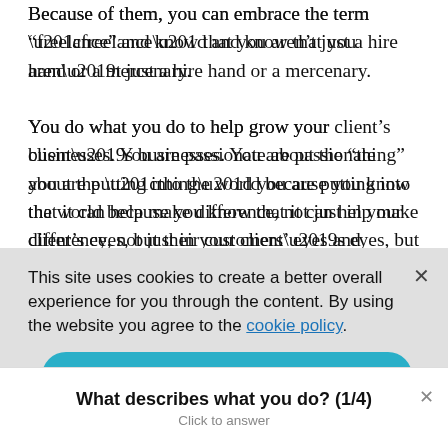Because of them, you can embrace the term “freelance” and know that you aren’t just a hire hand or a mercenary.

You do what you do to help grow your client’s businesses. You are passionate about the “thing” you are putting into the world because you know that it can help make difference, not just in your client’s eyes, but their customers’ eyes and ultimately your
This site uses cookies to create a better overall experience for you through the content. By using the website you agree to the cookie policy.
Accept
What describes what you do? (1/4)
Click to answer